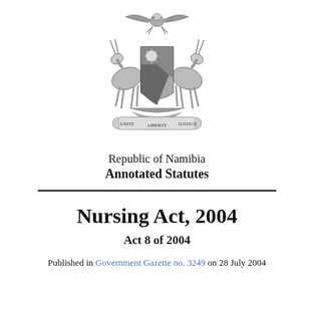[Figure (illustration): Coat of Arms of the Republic of Namibia. Two oryx supporting a shield with sun and stripes, an eagle atop, and a ribbon reading UNITY LIBERTY JUSTICE.]
Republic of Namibia
Annotated Statutes
Nursing Act, 2004
Act 8 of 2004
Published in Government Gazette no. 3249 on 28 July 2004